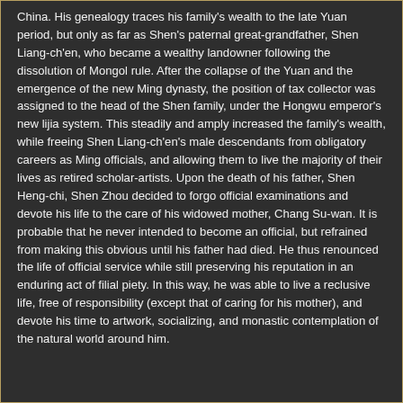China. His genealogy traces his family's wealth to the late Yuan period, but only as far as Shen's paternal great-grandfather, Shen Liang-ch'en, who became a wealthy landowner following the dissolution of Mongol rule. After the collapse of the Yuan and the emergence of the new Ming dynasty, the position of tax collector was assigned to the head of the Shen family, under the Hongwu emperor's new lijia system. This steadily and amply increased the family's wealth, while freeing Shen Liang-ch'en's male descendants from obligatory careers as Ming officials, and allowing them to live the majority of their lives as retired scholar-artists. Upon the death of his father, Shen Heng-chi, Shen Zhou decided to forgo official examinations and devote his life to the care of his widowed mother, Chang Su-wan. It is probable that he never intended to become an official, but refrained from making this obvious until his father had died. He thus renounced the life of official service while still preserving his reputation in an enduring act of filial piety. In this way, he was able to live a reclusive life, free of responsibility (except that of caring for his mother), and devote his time to artwork, socializing, and monastic contemplation of the natural world around him.